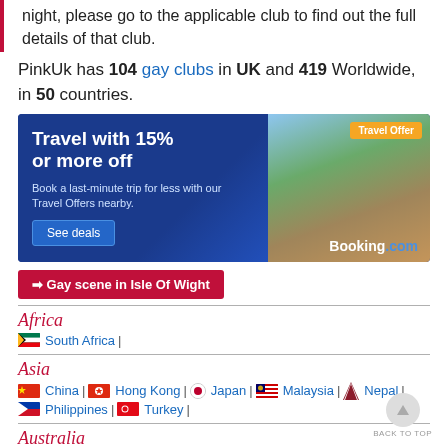night, please go to the applicable club to find out the full details of that club.
PinkUk has 104 gay clubs in UK and 419 Worldwide, in 50 countries.
[Figure (other): Booking.com travel advertisement banner. Text: 'Travel with 15% or more off. Book a last-minute trip for less with our Travel Offers nearby. See deals.' Orange badge: 'Travel Offer'. Logo: 'Booking.com'. Background shows a park with benches and a city skyline.]
Gay scene in Isle Of Wight
Africa
South Africa |
Asia
China | Hong Kong | Japan | Malaysia | Nepal | Philippines | Turkey |
Australia